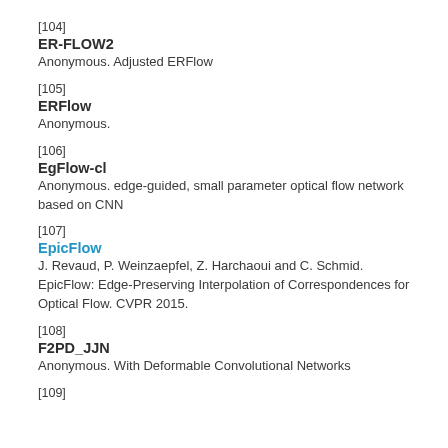[104]
ER-FLOW2
Anonymous. Adjusted ERFlow
[105]
ERFlow
Anonymous.
[106]
EgFlow-cl
Anonymous. edge-guided, small parameter optical flow network based on CNN
[107]
EpicFlow
J. Revaud, P. Weinzaepfel, Z. Harchaoui and C. Schmid. EpicFlow: Edge-Preserving Interpolation of Correspondences for Optical Flow. CVPR 2015.
[108]
F2PD_JJN
Anonymous. With Deformable Convolutional Networks
[109]